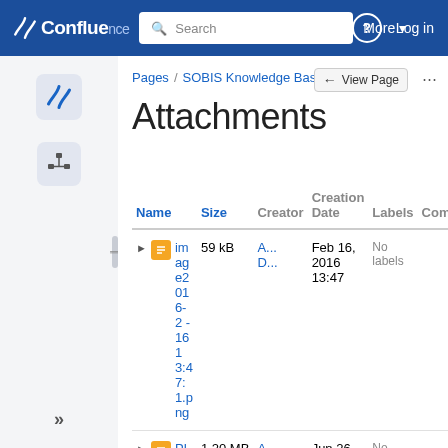Confluence — Search — More — Log in
Pages / SOBIS Knowledge Base / PIRS
Attachments
| Name | Size | Creator | Creation Date | Labels | Comment |
| --- | --- | --- | --- | --- | --- |
| image2016-2-16 13:47:1.png | 59 kB | A... D... | Feb 16, 2016 13:47 | No labels |  |
| PIRS L age... | 1.20 MB | A... D... | Jun 26, 2013... | No labels |  |